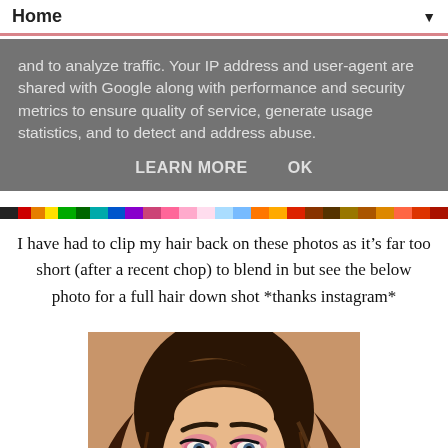Home ▼
and to analyze traffic. Your IP address and user-agent are shared with Google along with performance and security metrics to ensure quality of service, generate usage statistics, and to detect and address abuse.
LEARN MORE   OK
[Figure (photo): Colorful pixel/rainbow bar across width of page]
I have had to clip my hair back on these photos as it's far too short (after a recent chop) to blend in but see the below photo for a full hair down shot *thanks instagram*
[Figure (photo): Selfie photo of a young woman with long dark hair, dramatic eye makeup with pink eyeshadow, wearing a colorful floral top]